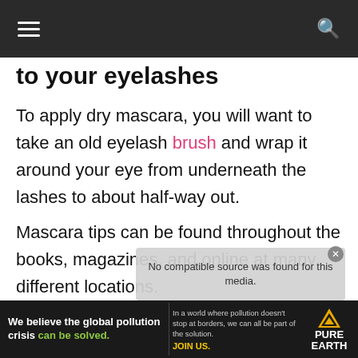Navigation bar with hamburger menu and search icon
to your eyelashes
To apply dry mascara, you will want to take an old eyelash brush and wrap it around your eye from underneath the lashes to about half-way out.
Mascara tips can be found throughout the books, magazines, and online at many different locations.
[Figure (other): No compatible source was found for this media overlay dialog]
[Figure (other): Pure Earth advertisement banner: We believe the global pollution crisis can be solved. In a world where pollution doesn't stop at borders, we can all be part of the solution. JOIN US.]